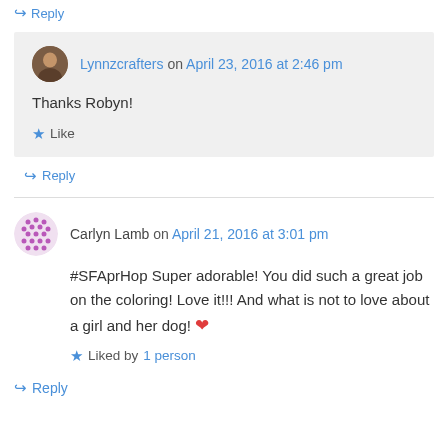↪ Reply
Lynnzcrafters on April 23, 2016 at 2:46 pm
Thanks Robyn!
★ Like
↪ Reply
Carlyn Lamb on April 21, 2016 at 3:01 pm
#SFAprHop Super adorable! You did such a great job on the coloring! Love it!!! And what is not to love about a girl and her dog! ❤
★ Liked by 1 person
↪ Reply